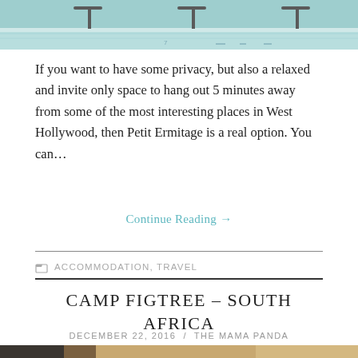[Figure (photo): Top portion of a swimming pool area with bar stools or chairs visible at the pool edge, blue-teal water visible]
If you want to have some privacy, but also a relaxed and invite only space to hang out 5 minutes away from some of the most interesting places in West Hollywood, then Petit Ermitage is a real option. You can...
Continue Reading →
📁 ACCOMMODATION, TRAVEL
CAMP FIGTREE – SOUTH AFRICA
DECEMBER 22, 2016  /  THE MAMA PANDA
[Figure (photo): Bottom portion showing interior of a lodge or accommodation room, partially visible]